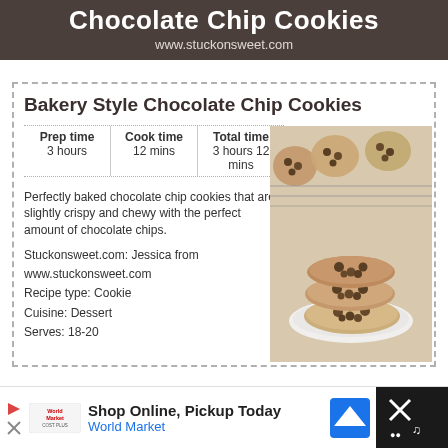Chocolate Chip Cookies
www.stuckonsweet.com
Bakery Style Chocolate Chip Cookies
| Prep time | Cook time | Total time |
| --- | --- | --- |
| 3 hours | 12 mins | 3 hours 12 mins |
Perfectly baked chocolate chip cookies that are slightly crispy and chewy with the perfect amount of chocolate chips.
Stuckonsweet.com: Jessica from www.stuckonsweet.com
Recipe type: Cookie
Cuisine: Dessert
Serves: 18-20
[Figure (photo): Stack of chocolate chip cookies on a white plate with more cookies on a cooling rack in the background]
Shop Online, Pickup Today
World Market